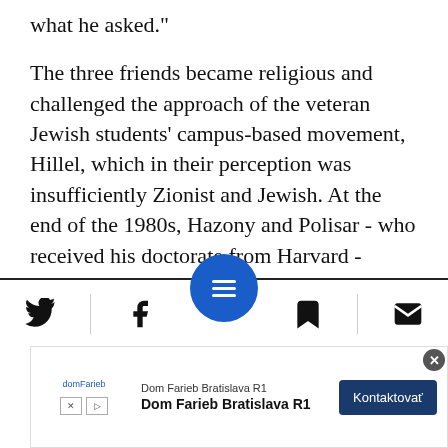what he asked."
The three friends became religious and challenged the approach of the veteran Jewish students' campus-based movement, Hillel, which in their perception was insufficiently Zionist and Jewish. At the end of the 1980s, Hazony and Polisar - who received his doctorate from Harvard - decided to immigrate to Israel with their young families (Hazony married Yael, an American-born convert to Judaism) and moved to Eli, a